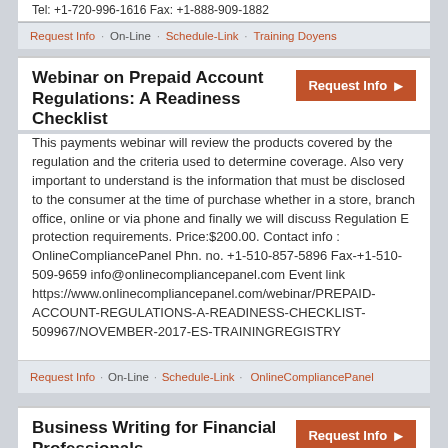Tel: +1-720-996-1616 Fax: +1-888-909-1882
Request Info · On-Line · Schedule-Link · Training Doyens
Webinar on Prepaid Account Regulations: A Readiness Checklist
This payments webinar will review the products covered by the regulation and the criteria used to determine coverage. Also very important to understand is the information that must be disclosed to the consumer at the time of purchase whether in a store, branch office, online or via phone and finally we will discuss Regulation E protection requirements. Price:$200.00. Contact info : OnlineCompliancePanel Phn. no. +1-510-857-5896 Fax-+1-510-509-9659 info@onlinecompliancepanel.com Event link https://www.onlinecompliancepanel.com/webinar/PREPAID-ACCOUNT-REGULATIONS-A-READINESS-CHECKLIST-509967/NOVEMBER-2017-ES-TRAININGREGISTRY
Request Info · On-Line · Schedule-Link · OnlineCompliancePanel
Business Writing for Financial Professionals
The TrainHR Course is approved by HRCI and